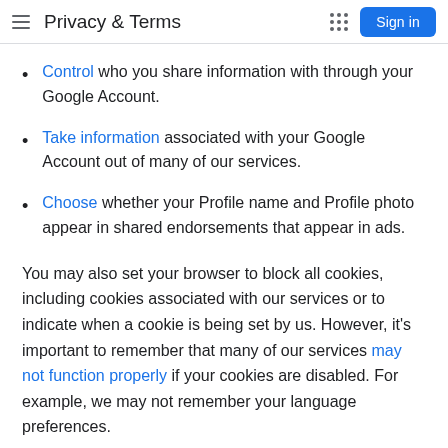Privacy & Terms
Control who you share information with through your Google Account.
Take information associated with your Google Account out of many of our services.
Choose whether your Profile name and Profile photo appear in shared endorsements that appear in ads.
You may also set your browser to block all cookies, including cookies associated with our services or to indicate when a cookie is being set by us. However, it's important to remember that many of our services may not function properly if your cookies are disabled. For example, we may not remember your language preferences.